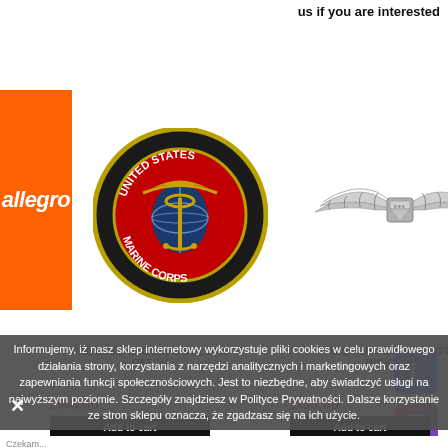us if you are interested
[Figure (logo): Allegro orange logo with white italic text]
[Figure (photo): U.S. Marine Corps circular velcro patch with globe and anchor emblem on black background]
[Figure (photo): U.S. Air Force silver pilot wings insignia]
[Figure (logo): Facebook blue square icon]
[Figure (logo): Instagram gradient square icon]
U.S. MARINE CORPS VELCRO PATCH
U.S. AIR FORCE PILOT INSIGNIA
zł48.00
zł35.00
Add to cart
Add to cart
Informujemy, iż nasz sklep internetowy wykorzystuje pliki cookies w celu prawidłowego działania strony, korzystania z narzędzi analitycznych i marketingowych oraz zapewniania funkcji społecznościowych. Jest to niezbędne, aby świadczyć usługi na najwyższym poziomie. Szczegóły znajdziesz w Polityce Prywatności. Dalsze korzystanie ze stron sklepu oznacza, że zgadzasz się na ich użycie.
Czekam... / We are waiting for many products